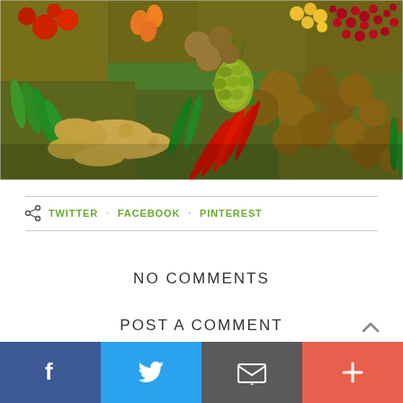[Figure (photo): Colorful market display of fresh fruits and vegetables including ginger, green peppers, chili peppers, kiwi, red berries, corn, and various produce in wooden crates]
TWITTER  FACEBOOK  PINTEREST
NO COMMENTS
POST A COMMENT
[Figure (infographic): Bottom social sharing bar with four buttons: Facebook (blue), Twitter (light blue), Email (gray), and Plus/More (red-orange)]